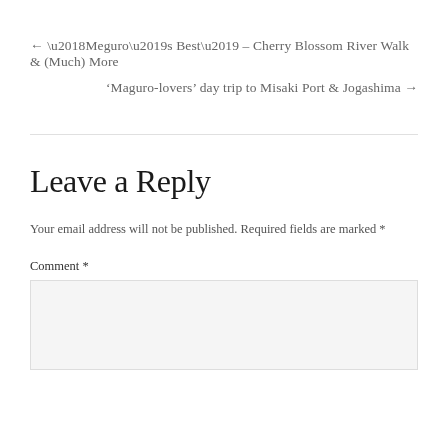← ‘Meguro’s Best’ – Cherry Blossom River Walk & (Much) More
‘Maguro-lovers’ day trip to Misaki Port & Jogashima →
Leave a Reply
Your email address will not be published. Required fields are marked *
Comment *